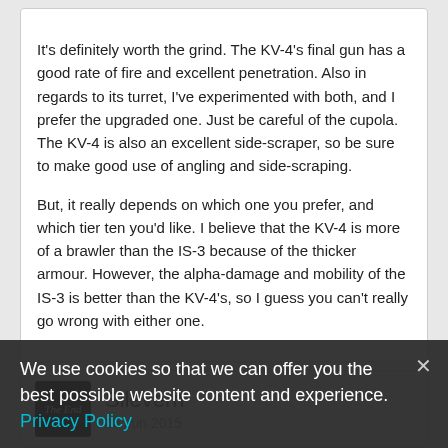It's definitely worth the grind. The KV-4's final gun has a good rate of fire and excellent penetration. Also in regards to its turret, I've experimented with both, and I prefer the upgraded one. Just be careful of the cupola. The KV-4 is also an excellent side-scraper, so be sure to make good use of angling and side-scraping.

But, it really depends on which one you prefer, and which tier ten you'd like. I believe that the KV-4 is more of a brawler than the IS-3 because of the thicker armour. However, the alpha-damage and mobility of the IS-3 is better than the KV-4's, so I guess you can't really go wrong with either one.
Silevern
05 Jun 2015
In terms of modules, you will want to get the second gun (something called ZiS or something, it has less alpha but much better penetration) and then you will want to use the stock turret. The reason is that the second turret has a massive mini-turret on top of the main turret that is...
We use cookies so that we can offer you the best possible website content and experience. Privacy Policy